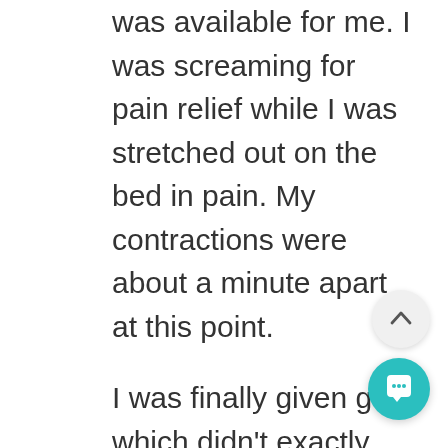was available for me. I was screaming for pain relief while I was stretched out on the bed in pain. My contractions were about a minute apart at this point.
I was finally given gas which didn't exactly relieve much pain as I was still screaming through the tube while my cousin and Aunt were telling me to breath. My poor cousin had to call for backup as I nearly broke her fingers holding her hand for support. I didn't want to leave the bed as I could not move, although the midwives kept trying to encourage me to walk